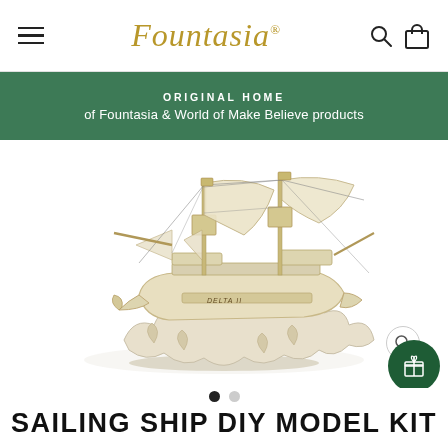Fountasia
ORIGINAL HOME of Fountasia & World of Make Believe products
[Figure (photo): 3D wooden DIY model kit of a sailing ship with masts, sails, rigging, and decorative wave base, assembled and displayed on a stand. The model is natural wood/cream colored.]
SAILING SHIP DIY MODEL KIT